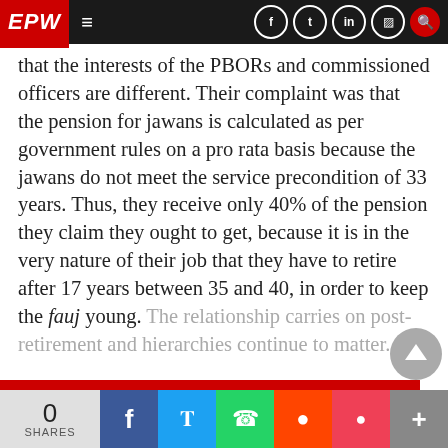EPW
that the interests of the PBORs and commissioned officers are different. Their complaint was that the pension for jawans is calculated as per government rules on a pro rata basis because the jawans do not meet the service precondition of 33 years. Thus, they receive only 40% of the pension they claim they ought to get, because it is in the very nature of their job that they have to retire after 17 years between 35 and 40, in order to keep the fauj young. The relationship carries on post-retirement and hierarchies continue to matter.
0 SHARES